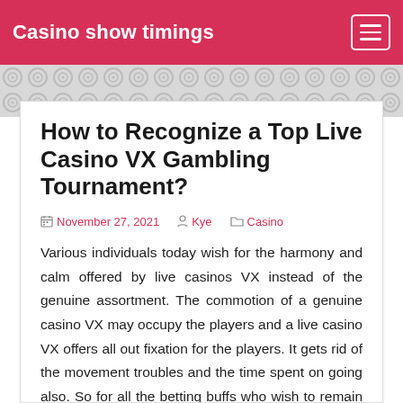Casino show timings
How to Recognize a Top Live Casino VX Gambling Tournament?
November 27, 2021  Kye  Casino
Various individuals today wish for the harmony and calm offered by live casinos VX instead of the genuine assortment. The commotion of a genuine casino VX may occupy the players and a live casino VX offers all out fixation for the players. It gets rid of the movement troubles and the time spent on going also. So for all the betting buffs who wish to remain at home and bet live